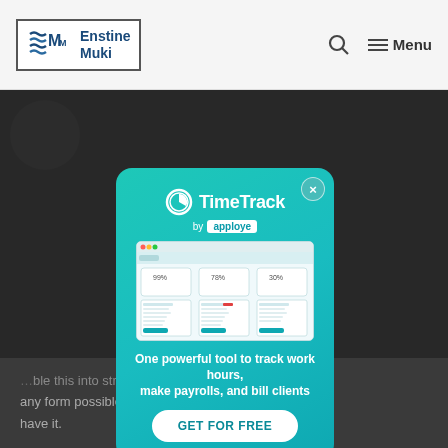Enstine Muki — Menu
[Figure (screenshot): TimeTrack by apploye modal popup. Shows TimeTrack logo (clock icon), 'by apploye' badge, dashboard screenshot mockup, tagline 'One powerful tool to track work hours, make payrolls, and bill clients', and a 'GET FOR FREE' button. Teal/cyan gradient background with close X button.]
any form possible. If you think it, you'll have it.